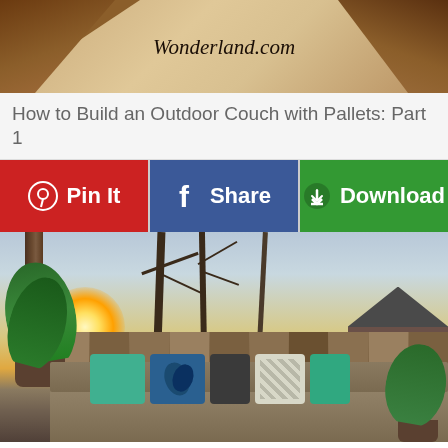[Figure (photo): Top portion of a website page showing wood pallet construction pieces with the watermark text 'Wonderland.com' overlaid in the center]
How to Build an Outdoor Couch with Pallets: Part 1
[Figure (infographic): Three social sharing buttons: red Pinterest 'Pin It' button, blue Facebook 'Share' button, and green 'Download' button with download icon]
[Figure (photo): Outdoor patio scene at sunset showing a wooden pallet couch with colorful teal, blue, and white pillows, surrounded by potted plants and a wooden fence in the background with bare winter trees and warm golden sunset light]